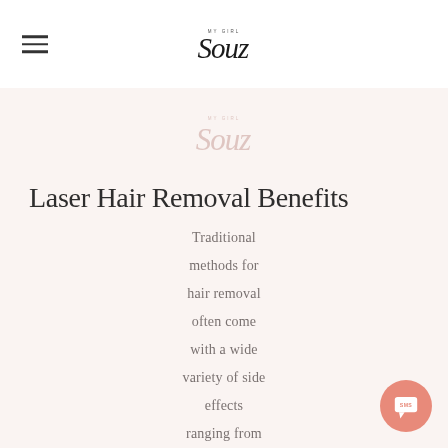[Figure (logo): My Girl Souz script logo in black at top navigation bar]
[Figure (logo): My Girl Souz script logo watermark in muted pink/beige on pink background]
Laser Hair Removal Benefits
Traditional methods for hair removal often come with a wide variety of side effects ranging from